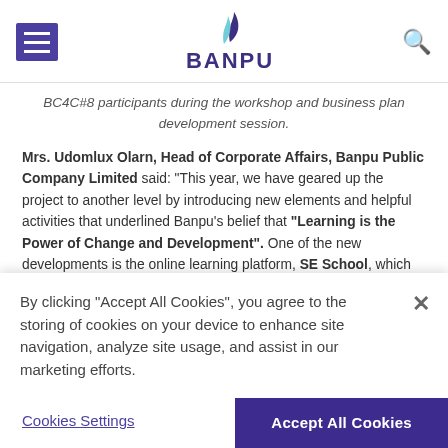BANPU
BC4C#8 participants during the workshop and business plan development session.
Mrs. Udomlux Olarn, Head of Corporate Affairs, Banpu Public Company Limited said: “This year, we have geared up the project to another level by introducing new elements and helpful activities that underlined Banpu’s belief that “Learning is the Power of Change and Development”. One of the new developments is the online learning platform, SE School, which forms a part of the applicants’ selection process in order to
By clicking “Accept All Cookies”, you agree to the storing of cookies on your device to enhance site navigation, analyze site usage, and assist in our marketing efforts.
Cookies Settings
Accept All Cookies